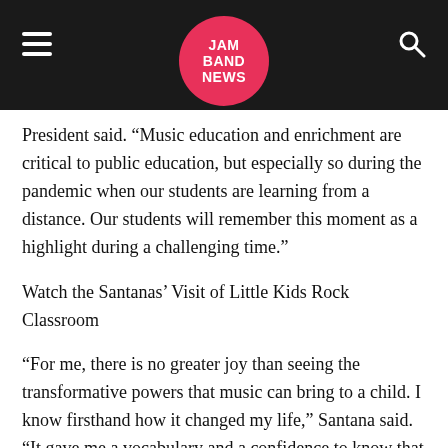JAM BAND NEWS
President said. “Music education and enrichment are critical to public education, but especially so during the pandemic when our students are learning from a distance. Our students will remember this moment as a highlight during a challenging time.”
Watch the Santanas’ Visit of Little Kids Rock Classroom
“For me, there is no greater joy than seeing the transformative powers that music can bring to a child. I know firsthand how it changed my life,” Santana said. “It gave me a vocabulary and a confidence to know that I am significant, meaningful, and that I can make a difference in the world. That is what Little Kids Rock brings to these children – the knowledge that they are all of these things and can touch people’s hearts and make a